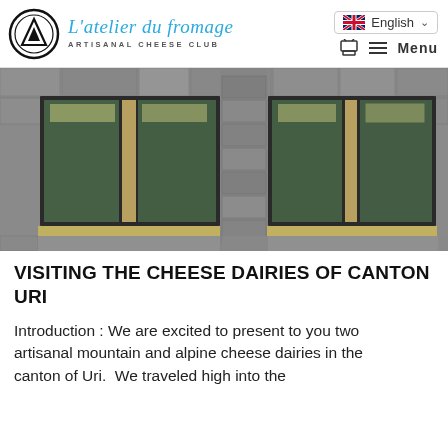L'atelier du fromage — ARTISANAL CHEESE CLUB | English | Menu
[Figure (photo): Exterior photo of a stone building facade with large green-tinted glass windows set in dark metal frames, divided by a stone pillar in the center.]
VISITING THE CHEESE DAIRIES OF CANTON URI
Introduction : We are excited to present to you two artisanal mountain and alpine cheese dairies in the canton of Uri. We traveled high into the